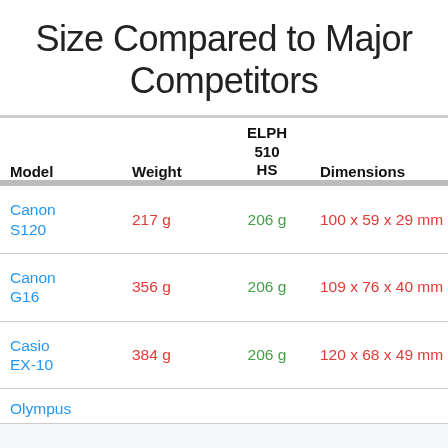Size Compared to Major Competitors
| Model | Weight | ELPH 510 HS | Dimensions |  |
| --- | --- | --- | --- | --- |
| Canon S120 | 217 g | 206 g | 100 x 59 x 29 mm | 9... |
| Canon G16 | 356 g | 206 g | 109 x 76 x 40 mm | 9... |
| Casio EX-10 | 384 g | 206 g | 120 x 68 x 49 mm | 9... |
| Olympus ... | ... | ... | ... | ... |